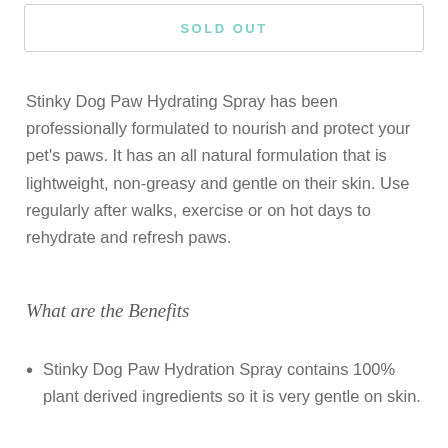SOLD OUT
Stinky Dog Paw Hydrating Spray has been professionally formulated to nourish and protect your pet's paws. It has an all natural formulation that is lightweight, non-greasy and gentle on their skin. Use regularly after walks, exercise or on hot days to rehydrate and refresh paws.
What are the Benefits
Stinky Dog Paw Hydration Spray contains 100% plant derived ingredients so it is very gentle on skin.